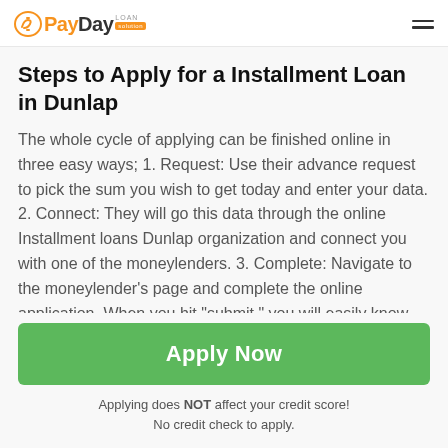PayDay LOAN solution
Steps to Apply for a Installment Loan in Dunlap
The whole cycle of applying can be finished online in three easy ways; 1. Request: Use their advance request to pick the sum you wish to get today and enter your data. 2. Connect: They will go this data through the online Installment loans Dunlap organization and connect you with one of the moneylenders. 3. Complete: Navigate to the moneylender's page and complete the online application. When you hit "submit," you will easily know from on-screen alerts if you have been confirmed for a loan. While this
Apply Now
Applying does NOT affect your credit score!
No credit check to apply.